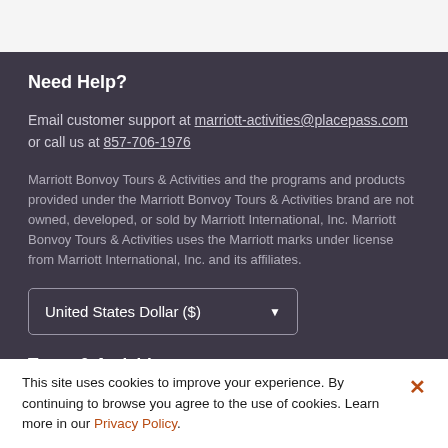Need Help?
Email customer support at marriott-activities@placepass.com or call us at 857-706-1976
Marriott Bonvoy Tours & Activities and the programs and products provided under the Marriott Bonvoy Tours & Activities brand are not owned, developed, or sold by Marriott International, Inc. Marriott Bonvoy Tours & Activities uses the Marriott marks under license from Marriott International, Inc. and its affiliates.
United States Dollar ($)
Tours & Activities
Favorites
This site uses cookies to improve your experience. By continuing to browse you agree to the use of cookies. Learn more in our Privacy Policy.